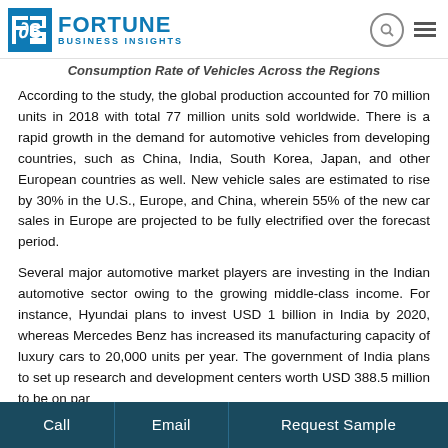FORTUNE BUSINESS INSIGHTS
Consumption Rate of Vehicles Across the Regions
According to the study, the global production accounted for 70 million units in 2018 with total 77 million units sold worldwide. There is a rapid growth in the demand for automotive vehicles from developing countries, such as China, India, South Korea, Japan, and other European countries as well. New vehicle sales are estimated to rise by 30% in the U.S., Europe, and China, wherein 55% of the new car sales in Europe are projected to be fully electrified over the forecast period.
Several major automotive market players are investing in the Indian automotive sector owing to the growing middle-class income. For instance, Hyundai plans to invest USD 1 billion in India by 2020, whereas Mercedes Benz has increased its manufacturing capacity of luxury cars to 20,000 units per year. The government of India plans to set up research and development centers worth USD 388.5 million to be on par
Call | Email | Request Sample